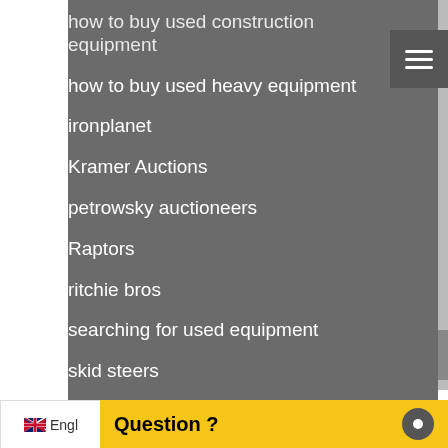how to buy used construction equipment
how to buy used heavy equipment
ironplanet
Kramer Auctions
petrowsky auctioneers
Raptors
ritchie bros
searching for used equipment
skid steers
Uncategorized
Used Construction Equipment
used heavy equipment
wheel loaders
Question ?